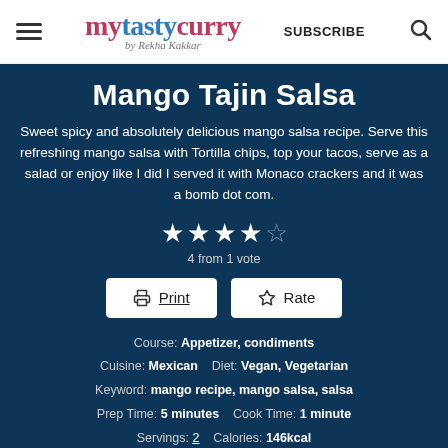mytastycurry by Rekha Kakkar — SUBSCRIBE
Mango Tajin Salsa
Sweet spicy and absolutely delicious mango salsa recipe. Serve this refreshing mango salsa with Tortilla chips, top your tacos, serve as a salad or enjoy like I did I served it with Monaco crackers and it was a bomb dot com.
4 from 1 vote
Course: Appetizer, condiments
Cuisine: Mexican   Diet: Vegan, Vegetarian
Keyword: mango recipe, mango salsa, salsa
Prep Time: 5 minutes   Cook Time: 1 minute
Servings: 2   Calories: 146kcal